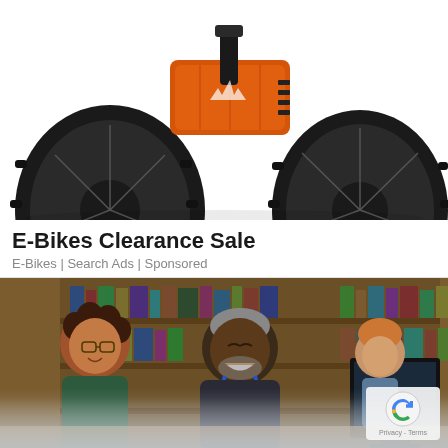[Figure (photo): Close-up photo of an orange and black electric fat-tire bicycle, showing chunky knobby tires, orange battery/frame component, and spoked wheel against white background]
E-Bikes Clearance Sale
E-Bikes | Search Ads | Sponsored
[Figure (photo): Photo of a smiling middle-aged Black man with a blue lanyard sitting next to a young person with curly hair in a library setting with bookshelves in the background and a monitor visible on the right]